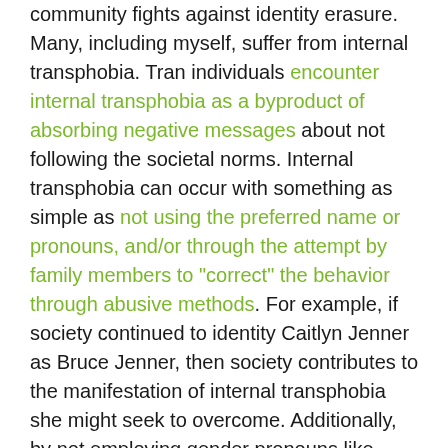community fights against identity erasure. Many, including myself, suffer from internal transphobia. Tran individuals encounter internal transphobia as a byproduct of absorbing negative messages about not following the societal norms. Internal transphobia can occur with something as simple as not using the preferred name or pronouns, and/or through the attempt by family members to "correct" the behavior through abusive methods. For example, if society continued to identity Caitlyn Jenner as Bruce Jenner, then society contributes to the manifestation of internal transphobia she might seek to overcome. Additionally, by not employing gender pronouns like he/him: female transitioning to male (FTM), or she/her: male transitioning to female (MTF), and encouraging abusive practices like conversion therapy or berating about dating/sleeping with members of the opposite sex, society infringes upon the rights of Trans